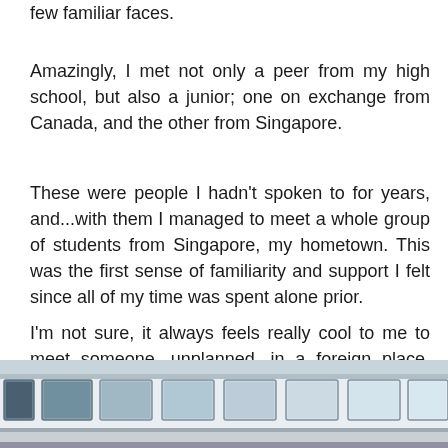few familiar faces.
Amazingly, I met not only a peer from my high school, but also a junior; one on exchange from Canada, and the other from Singapore.
These were people I hadn't spoken to for years, and...with them I managed to meet a whole group of students from Singapore, my hometown. This was the first sense of familiarity and support I felt since all of my time was spent alone prior.
I'm not sure, it always feels really cool to me to meet someone, unplanned, in a foreign place. Maybe it's just me. Anyway, that was really nice.
[Figure (photo): Photograph of a train showing a row of rectangular windows along the side of the train car, with the train body visible at the bottom.]